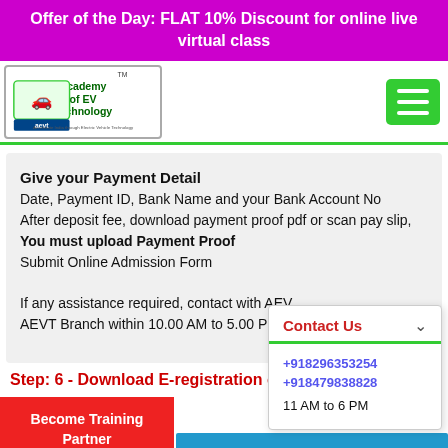Offer of the Day: FLAT 10% Discount for online live virtual class
[Figure (logo): Academy of EV Technology (AEVT) logo with electric car icon]
Give your Payment Detail
Date, Payment ID, Bank Name and your Bank Account No
After deposit fee, download payment proof pdf or scan pay slip, You must upload Payment Proof
Submit Online Admission Form

If any assistance required, contact with AEVT Branch within 10.00 AM to 5.00 PM
Contact Us
+918296353254
+918479838828
11 AM to 6 PM
Step: 6 - Download E-registration ce
Become Training Partner